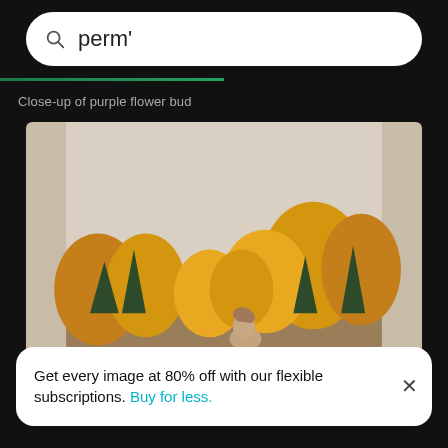perm'
Close-up of purple flower bud
[Figure (photo): Outdoor autumn scene with a woman in foreground and golden yellow trees in the background against a pale sky.]
Get every image at 80% off with our flexible subscriptions. Buy for less.